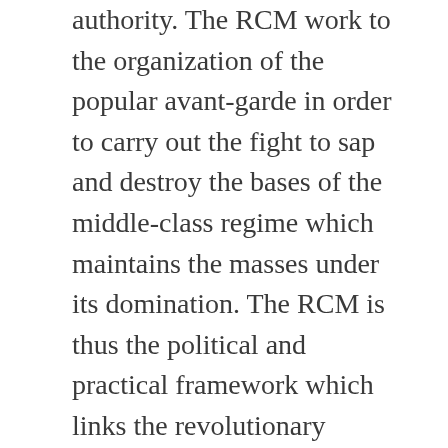authority. The RCM work to the organization of the popular avant-garde in order to carry out the fight to sap and destroy the bases of the middle-class regime which maintains the masses under its domination. The RCM is thus the political and practical framework which links the revolutionary forces everywhere.
The RCM is the instrument of a new stage of the human History announced by the Popular Revolution: the era of the masses! The member of the Revolutionary Committee is the messenger, just and devoted. After the success of the Popular Revolution organized and carried out by the Revolutionary Committees and after the ascendance of the masses to the power, the duty of the Revolutionary